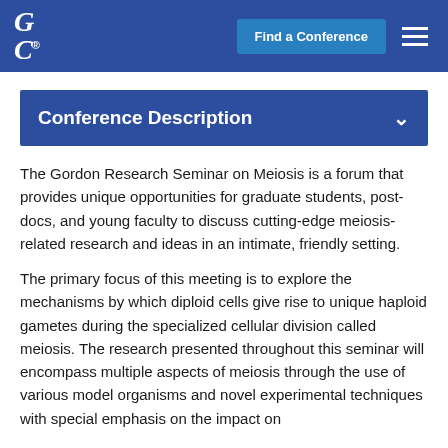GRC® | Find a Conference | [menu]
Conference Description
The Gordon Research Seminar on Meiosis is a forum that provides unique opportunities for graduate students, post-docs, and young faculty to discuss cutting-edge meiosis-related research and ideas in an intimate, friendly setting.
The primary focus of this meeting is to explore the mechanisms by which diploid cells give rise to unique haploid gametes during the specialized cellular division called meiosis. The research presented throughout this seminar will encompass multiple aspects of meiosis through the use of various model organisms and novel experimental techniques with special emphasis on the impact...